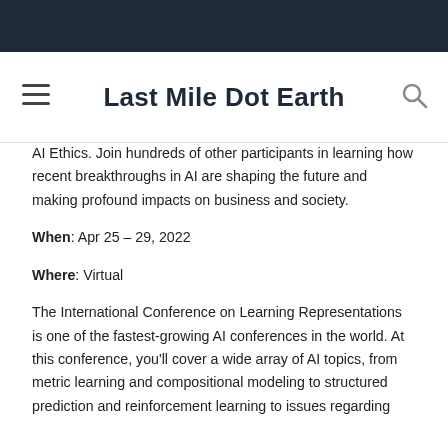Last Mile Dot Earth
AI Ethics. Join hundreds of other participants in learning how recent breakthroughs in AI are shaping the future and making profound impacts on business and society.
When: Apr 25 – 29, 2022
Where: Virtual
The International Conference on Learning Representations is one of the fastest-growing AI conferences in the world. At this conference, you'll cover a wide array of AI topics, from metric learning and compositional modeling to structured prediction and reinforcement learning to issues regarding